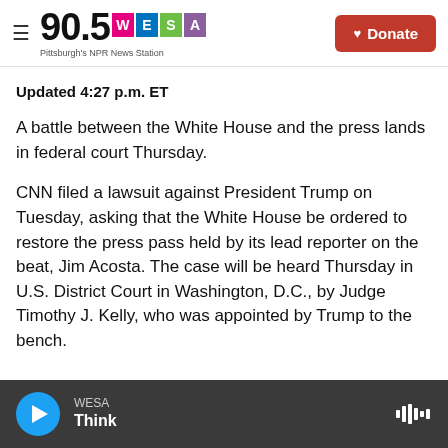90.5 WESA Pittsburgh's NPR News Station
Updated 4:27 p.m. ET
A battle between the White House and the press lands in federal court Thursday.
CNN filed a lawsuit against President Trump on Tuesday, asking that the White House be ordered to restore the press pass held by its lead reporter on the beat, Jim Acosta. The case will be heard Thursday in U.S. District Court in Washington, D.C., by Judge Timothy J. Kelly, who was appointed by Trump to the bench.
WESA Think